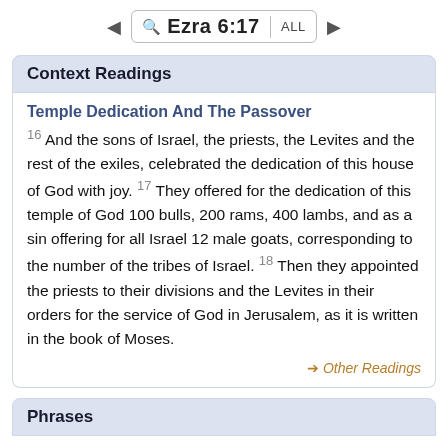Ezra 6:17 ALL
Context Readings
Temple Dedication And The Passover
16 And the sons of Israel, the priests, the Levites and the rest of the exiles, celebrated the dedication of this house of God with joy. 17 They offered for the dedication of this temple of God 100 bulls, 200 rams, 400 lambs, and as a sin offering for all Israel 12 male goats, corresponding to the number of the tribes of Israel. 18 Then they appointed the priests to their divisions and the Levites in their orders for the service of God in Jerusalem, as it is written in the book of Moses.
→ Other Readings
Phrases